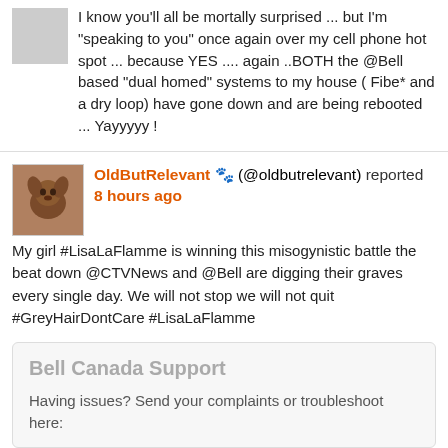I know you'll all be mortally surprised ... but I'm "speaking to you" once again over my cell phone hot spot ... because YES .... again ..BOTH the @Bell based "dual homed" systems to my house ( Fibe* and a dry loop) have gone down and are being rebooted ... Yayyyyy !
OldButRelevant 🐾 (@oldbutrelevant) reported 8 hours ago
My girl #LisaLaFlamme is winning this misogynistic battle the beat down @CTVNews and @Bell are digging their graves every single day. We will not stop we will not quit #GreyHairDontCare #LisaLaFlamme
Bell Canada Support
Having issues? Send your complaints or troubleshoot here: